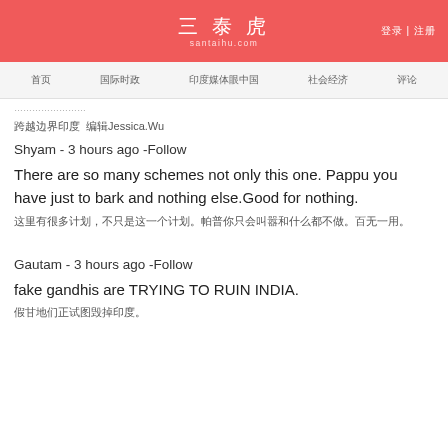三泰虎 santaihu.com 登录 | 注册
首页 国际时政 印度媒体眼中国 社会经济 评论
…………………
跨越边界印度  编辑Jessica.Wu
Shyam - 3 hours ago -Follow
There are so many schemes not only this one. Pappu you have just to bark and nothing else.Good for nothing.
这里有很多计划，不只是这一个。帕普你只会叫和什么都不做。百无一用。
Gautam - 3 hours ago -Follow
fake gandhis are TRYING TO RUIN INDIA.
假甘地们正在……